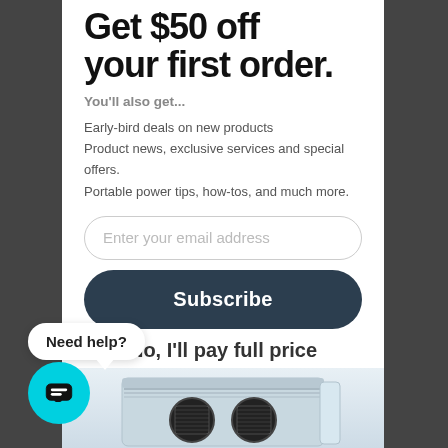Get $50 off your first order.
You'll also get...
Early-bird deals on new products
Product news, exclusive services and special offers.
Portable power tips, how-tos, and much more.
Enter your email address
Subscribe
No, I'll pay full price
*Discount only applies to DELTA Series, RIVER Pro, and related bundles agree to receive occasional emails from us.
Need help?
[Figure (photo): Bottom portion of a portable power station (EcoFlow DELTA or similar) showing the front panel with two circular ventilation grilles]